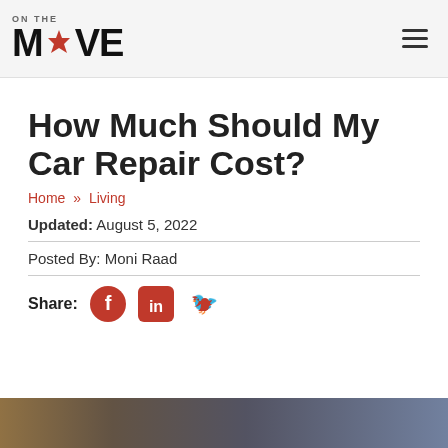THE MOVE — navigation header with logo and hamburger menu
How Much Should My Car Repair Cost?
Home » Living
Updated: August 5, 2022
Posted By: Moni Raad
Share: [Facebook] [LinkedIn] [Twitter]
[Figure (photo): Bottom portion of a car repair photo visible at page bottom]